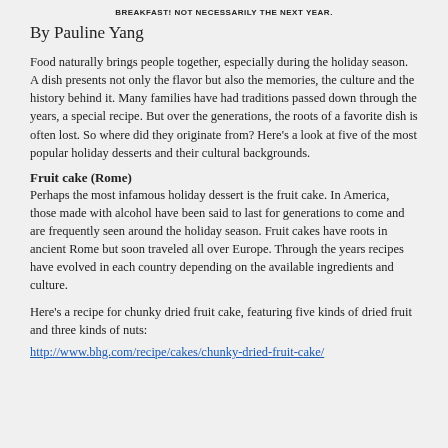BREAKFAST! NOT NECESSARILY THE NEXT YEAR.
By Pauline Yang
Food naturally brings people together, especially during the holiday season. A dish presents not only the flavor but also the memories, the culture and the history behind it. Many families have had traditions passed down through the years, a special recipe. But over the generations, the roots of a favorite dish is often lost. So where did they originate from? Here's a look at five of the most popular holiday desserts and their cultural backgrounds.
Fruit cake (Rome)
Perhaps the most infamous holiday dessert is the fruit cake. In America, those made with alcohol have been said to last for generations to come and are frequently seen around the holiday season. Fruit cakes have roots in ancient Rome but soon traveled all over Europe. Through the years recipes have evolved in each country depending on the available ingredients and culture.
Here's a recipe for chunky dried fruit cake, featuring five kinds of dried fruit and three kinds of nuts:
http://www.bhg.com/recipe/cakes/chunky-dried-fruit-cake/